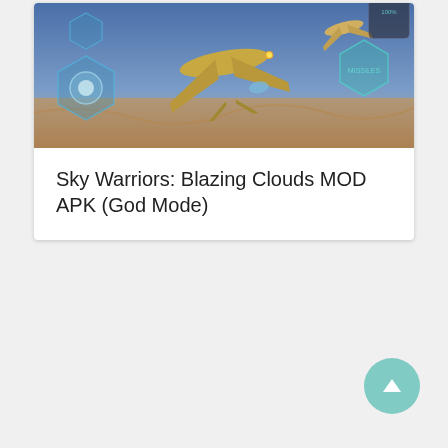[Figure (screenshot): Screenshot of a mobile game showing fighter jets flying over a desert landscape with game HUD controls visible including a joystick on the left and action buttons on the right.]
Sky Warriors: Blazing Clouds MOD APK (God Mode)